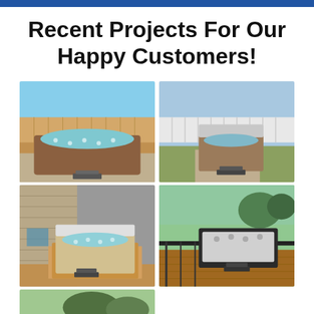Recent Projects For Our Happy Customers!
[Figure (photo): Hot tub installed in a suburban backyard with a wooden fence, brown exterior, large swim spa model on a concrete patio.]
[Figure (photo): Hot tub with open cover, brown cabinet, sitting on a paved surface in a backyard with white fence.]
[Figure (photo): Hot tub with white cover on a wooden deck platform with cedar surround.]
[Figure (photo): Dark charcoal/black hot tub on a composite deck with black metal railing, white interior.]
[Figure (photo): Hot tub installed in a backyard with trees, partially visible, with an accessibility icon overlay.]